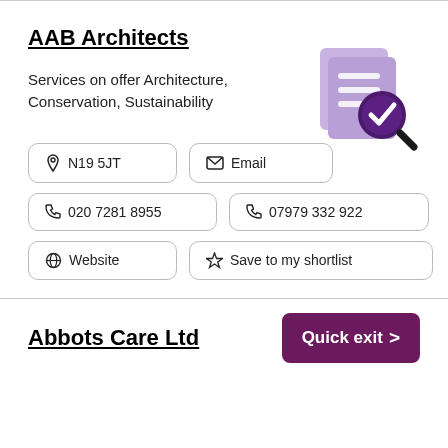AAB Architects
Services on offer Architecture, Conservation, Sustainability
[Figure (illustration): Purple document/checklist icon with a magnifying glass showing a checkmark]
📍 N19 5JT
✉ Email
📞 020 7281 8955
📞 07979 332 922
🔗 Website
☆ Save to my shortlist
Abbots Care Ltd